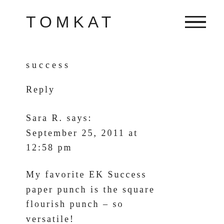TOMKAT
success
Reply
Sara R. says:
September 25, 2011 at
12:58 pm
My favorite EK Success paper punch is the square flourish punch – so versatile!